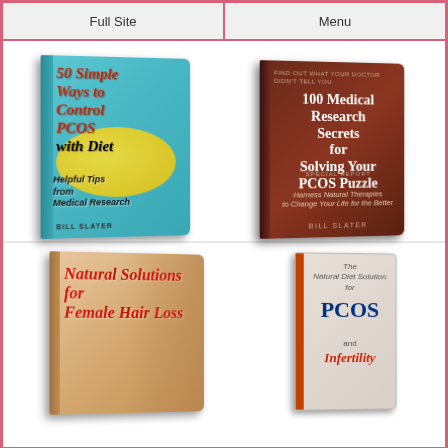Full Site | Menu
[Figure (illustration): Book cover: '50 Simple Ways to Control PCOS with Diet — Helpful Tips from Medical Research' by Bill Slater. Teal cover with lemon imagery.]
[Figure (illustration): Book cover: '100 Medical Research Secrets for Solving Your PCOS Puzzle — Special Report: Harness Natural Therapies to Change Your Life for the Better' by Bill Slater. Dark brown cover with woman's face.]
[Figure (illustration): Book cover: 'Natural Solutions for Female Hair Loss'. Warm tan cover with woman's face.]
[Figure (illustration): Book cover: 'The Natural Diet Solution for PCOS and Infertility'. Light cover with red and blue text.]